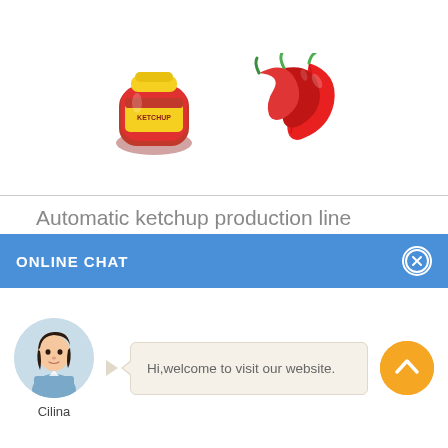[Figure (photo): Product images: ketchup jar and red chili peppers at top of page]
Automatic ketchup production line factory machine price in Chile
[Figure (photo): Industrial ketchup production line machine on grey gradient background]
ONLINE CHAT
[Figure (photo): Chat widget with female avatar named Cilina and speech bubble saying Hi,welcome to visit our website.]